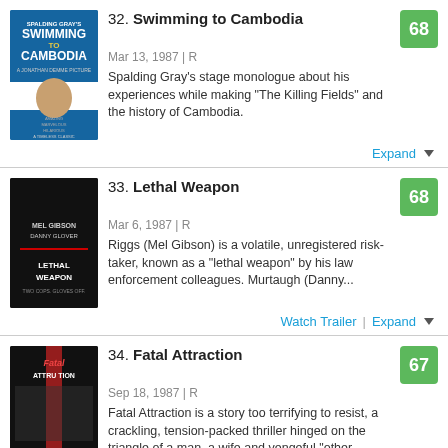32. Swimming to Cambodia — Mar 13, 1987 | R — Score: 68 — Spalding Gray's stage monologue about his experiences while making "The Killing Fields" and the history of Cambodia.
33. Lethal Weapon — Mar 6, 1987 | R — Score: 68 — Riggs (Mel Gibson) is a volatile, unregistered risk-taker, known as a "lethal weapon" by his law enforcement colleagues. Murtaugh (Danny...
34. Fatal Attraction — Sep 18, 1987 | R — Score: 67 — Fatal Attraction is a story too terrifying to resist, a crackling, tension-packed thriller hinged on the triangle of a man, a wife and vengeful "other...